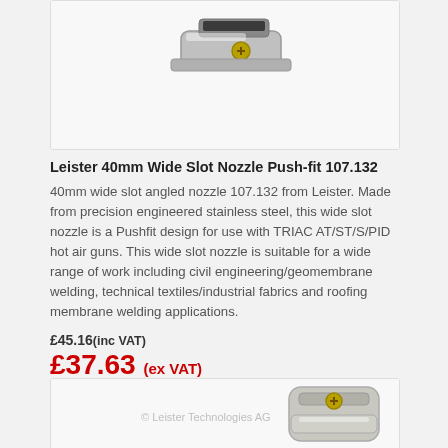[Figure (photo): Close-up photo of a Leister 40mm wide slot push-fit nozzle made of stainless steel, shown from an angle against a white background.]
Leister 40mm Wide Slot Nozzle Push-fit 107.132
40mm wide slot angled nozzle 107.132 from Leister. Made from precision engineered stainless steel, this wide slot nozzle is a Pushfit design for use with TRIAC AT/ST/S/PID hot air guns. This wide slot nozzle is suitable for a wide range of work including civil engineering/geomembrane welding, technical textiles/industrial fabrics and roofing membrane welding applications.
£45.16(inc VAT)
£37.63 (ex VAT)
[Figure (photo): Partial photo of a Leister clamp/hose clip product in metallic finish with a screw tightening mechanism, shown against a white background. Watermark reads '© Leister Technologies AG'.]